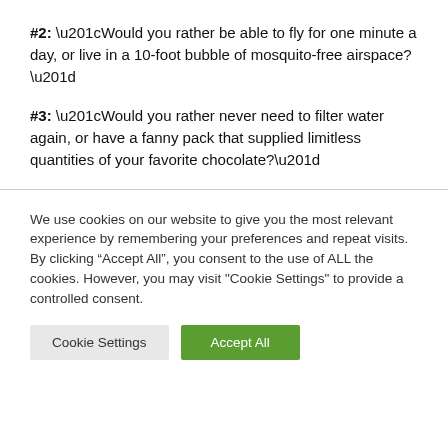#2: “Would you rather be able to fly for one minute a day, or live in a 10-foot bubble of mosquito-free airspace?”
#3: “Would you rather never need to filter water again, or have a fanny pack that supplied limitless quantities of your favorite chocolate?”
We use cookies on our website to give you the most relevant experience by remembering your preferences and repeat visits. By clicking “Accept All”, you consent to the use of ALL the cookies. However, you may visit "Cookie Settings" to provide a controlled consent.